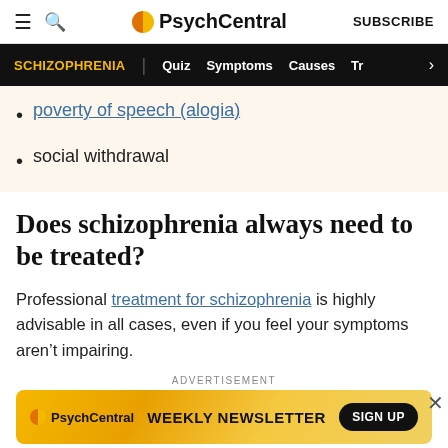PsychCentral — SUBSCRIBE
SCHIZOPHRENIA | Quiz  Symptoms  Causes  Tr >
poverty of speech (alogia)
social withdrawal
Does schizophrenia always need to be treated?
Professional treatment for schizophrenia is highly advisable in all cases, even if you feel your symptoms aren't impairing.
[Figure (screenshot): Advertisement banner: PsychCentral WEEKLY NEWSLETTER — SIGN UP button on golden/yellow swirl background]